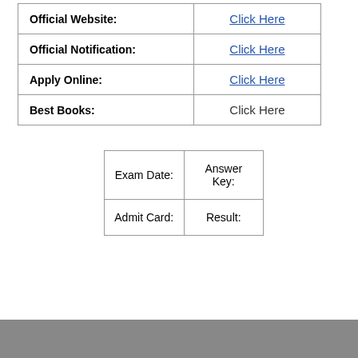|  |  |
| --- | --- |
| Official Website: | Click Here |
| Official Notification: | Click Here |
| Apply Online: | Click Here |
| Best Books: | Click Here |
| Exam Date: | Answer Key: |
| Admit Card: | Result: |